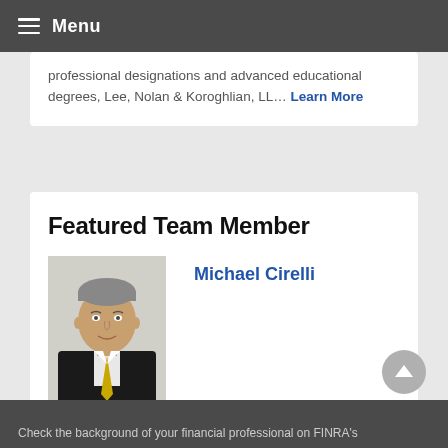Menu
professional designations and advanced educational degrees, Lee, Nolan & Koroghlian, LL… Learn More
Featured Team Member
[Figure (photo): Headshot photo of Michael Cirelli, a middle-aged man in a dark suit with a yellow tie]
Michael Cirelli
Check the background of your financial professional on FINRA's